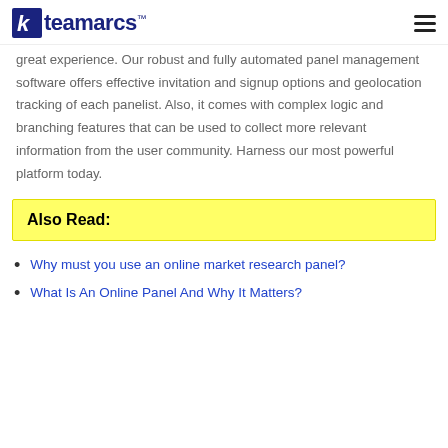teamarcs™
great experience. Our robust and fully automated panel management software offers effective invitation and signup options and geolocation tracking of each panelist. Also, it comes with complex logic and branching features that can be used to collect more relevant information from the user community. Harness our most powerful platform today.
Also Read:
Why must you use an online market research panel?
What Is An Online Panel And Why It Matters?